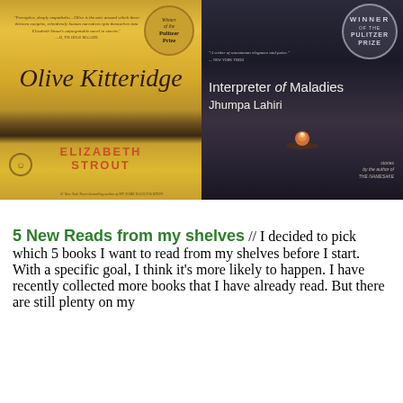[Figure (photo): Two book covers side by side. Left: 'Olive Kitteridge' by Elizabeth Strout, golden/yellow cover with rural scene, Winner of the Pulitzer Prize badge. Right: 'Interpreter of Maladies' by Jhumpa Lahiri, dark cover with water reflection and floating flower, Winner of the Pulitzer Prize badge.]
5 New Reads from my shelves // I decided to pick which 5 books I want to read from my shelves before I start. With a specific goal, I think it's more likely to happen. I have recently collected more books that I have already read. But there are still plenty on my